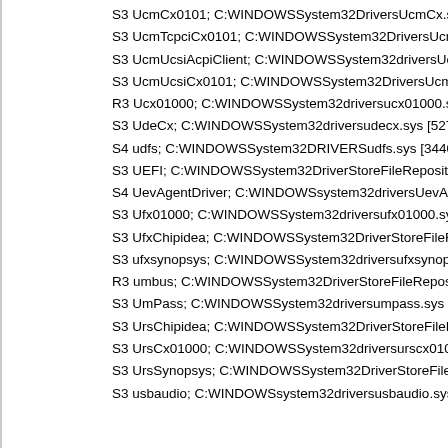S3 UcmCx0101; C:WINDOWSSystem32DriversUcmCx.sys [160256 2
S3 UcmTcpciCx0101; C:WINDOWSSystem32DriversUcmTcpciCx.sys
S3 UcmUcsiAcpiClient; C:WINDOWSSystem32driversUcmUcsiAcpiCl
S3 UcmUcsiCx0101; C:WINDOWSSystem32DriversUcmUcsiCx.sys [1
R3 Ucx01000; C:WINDOWSSystem32driversucx01000.sys [259896 2
S3 UdeCx; C:WINDOWSSystem32driversudecx.sys [52736 2019-12-
S4 udfs; C:WINDOWSSystem32DRIVERSudfs.sys [344064 2019-12-0
S3 UEFI; C:WINDOWSSystem32DriverStoreFileRepositoryuefi.inf_a
S4 UevAgentDriver; C:WINDOWSsystem32driversUevAgentDriver.s
S3 Ufx01000; C:WINDOWSSystem32driversufx01000.sys [324432 2
S3 UfxChipidea; C:WINDOWSSystem32DriverStoreFileRepositoryu
S3 ufxsynopsys; C:WINDOWSSystem32driversufxsynopsys.sys [1
R3 umbus; C:WINDOWSSystem32DriverStoreFileRepositoryumbus
S3 UmPass; C:WINDOWSSystem32driversumpass.sys [15360 2019
S3 UrsChipidea; C:WINDOWSSystem32DriverStoreFileRepositoryu
S3 UrsCx01000; C:WINDOWSSystem32driversurscx01000.sys [7630
S3 UrsSynopsys; C:WINDOWSSystem32DriverStoreFileRepository
S3 usbaudio; C:WINDOWSsystem32driversusbaudio.sys [209920 2